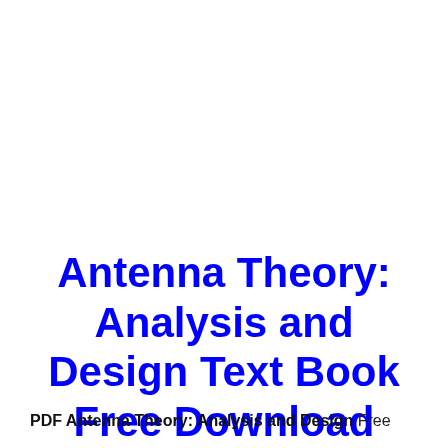Antenna Theory: Analysis and Design Text Book Free Download
PDF Antenna Theory: Analysis and Design Free